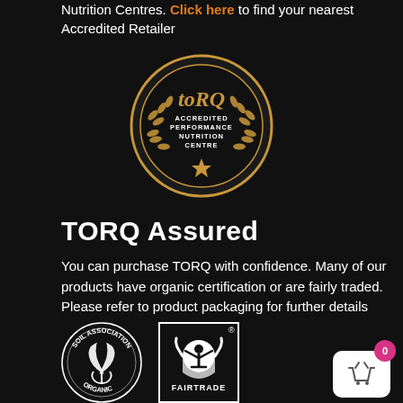Nutrition Centres. Click here to find your nearest Accredited Retailer
[Figure (logo): TORQ Accredited Performance Nutrition Centre badge — circular black badge with gold laurel wreath, TORQ logo in gold/orange text, text reading ACCREDITED PERFORMANCE NUTRITION CENTRE, and a gold star at the bottom.]
TORQ Assured
You can purchase TORQ with confidence. Many of our products have organic certification or are fairly traded. Please refer to product packaging for further details
[Figure (logo): Soil Association Organic logo — circular white logo with plant/leaf design and text SOIL ASSOCIATION ORGANIC around the border.]
[Figure (logo): Fairtrade logo — white Fairtrade symbol on black background in a square border, with FAIRTRADE text below the symbol, and a registered trademark symbol in the top-right corner.]